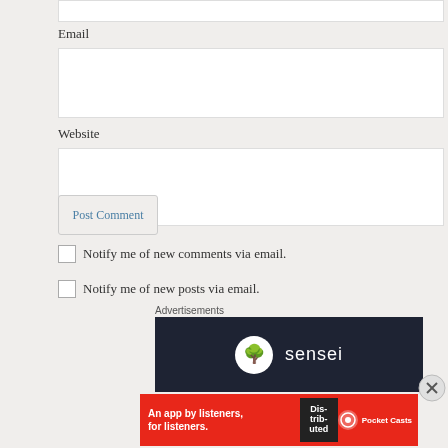Email
[Figure (screenshot): Empty email input text box]
Website
[Figure (screenshot): Empty website input text box]
[Figure (screenshot): Post Comment button]
Notify me of new comments via email.
Notify me of new posts via email.
Advertisements
[Figure (logo): Sensei logo on dark background — tree icon with word sensei]
Advertisements
[Figure (infographic): Pocket Casts ad on red background: An app by listeners, for listeners. with Distributed book and phone image]
[Figure (other): Close/X button circle]